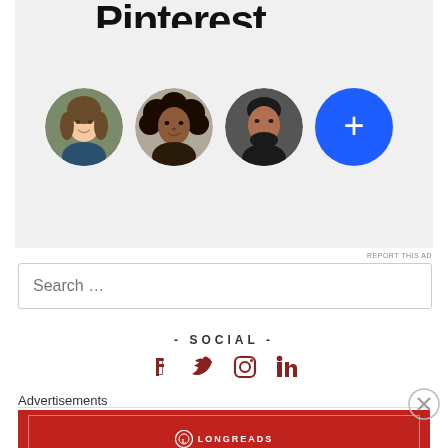[Figure (screenshot): Pinterest-style ad with profile photos and a blue plus button on a light gray background. Three circular profile photos of people and a blue circle with a white plus sign are shown.]
REPORT THIS AD
Search …
- SOCIAL -
[Figure (illustration): Social media icons: Facebook, Twitter, Instagram, LinkedIn]
Advertisements
[Figure (illustration): Longreads advertisement banner. Red background with white border. Logo and text: The best stories on the web — ours, and everyone else's.]